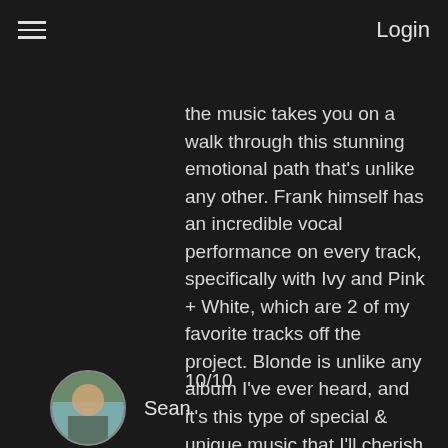≡  Login
the music takes you on a walk through this stunning emotional path that's unlike any other. Frank himself has an incredible vocal performance on every track, specifically with Ivy and Pink + White, which are 2 of my favorite tracks off the project. Blonde is unlike any album I've ever heard, and it's this type of special & unique music that I'll cherish for years to come.
10/10
Sean